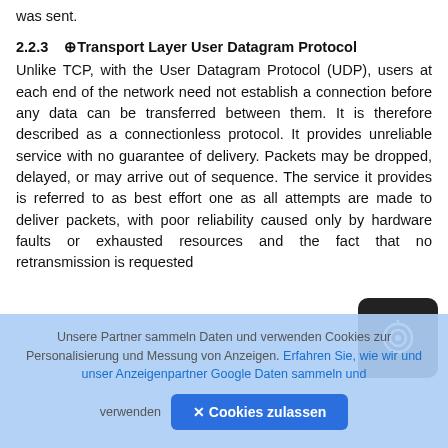was sent.
2.2.3   Transport Layer User Datagram Protocol
Unlike TCP, with the User Datagram Protocol (UDP), users at each end of the network need not establish a connection before any data can be transferred between them. It is therefore described as a connectionless protocol. It provides unreliable service with no guarantee of delivery. Packets may be dropped, delayed, or may arrive out of sequence. The service it provides is referred to as best effort one as all attempts are made to deliver packets, with poor reliability caused only by hardware faults or exhausted resources and the fact that no retransmission is requested
Unsere Partner sammeln Daten und verwenden Cookies zur Personalisierung und Messung von Anzeigen. Erfahren Sie, wie wir und unser Anzeigenpartner Google Daten sammeln und verwenden
✕ Cookies zulassen